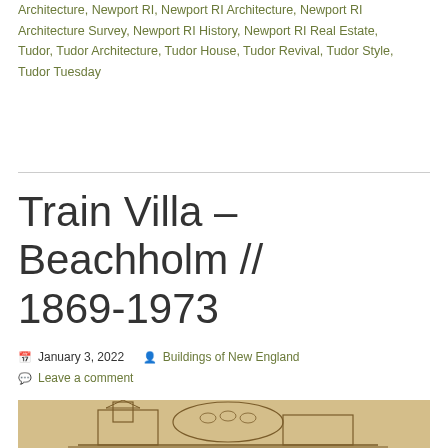Architecture, Newport RI, Newport RI Architecture, Newport RI Architecture Survey, Newport RI History, Newport RI Real Estate, Tudor, Tudor Architecture, Tudor House, Tudor Revival, Tudor Style, Tudor Tuesday
Train Villa – Beachholm // 1869-1973
January 3, 2022  Buildings of New England  Leave a comment
[Figure (photo): Sepia-toned vintage photograph or illustration of a Victorian-era building (Train Villa – Beachholm), showing architectural details including a tower, curved roof sections, and ornate Victorian features]